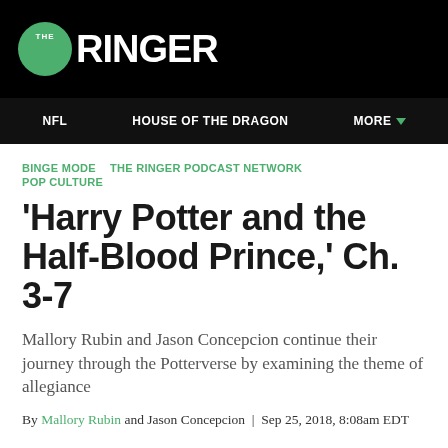THE RINGER
NFL   HOUSE OF THE DRAGON   MORE
BINGE MODE   THE RINGER PODCAST NETWORK   POP CULTURE
'Harry Potter and the Half-Blood Prince,' Ch. 3-7
Mallory Rubin and Jason Concepcion continue their journey through the Potterverse by examining the theme of allegiance
By Mallory Rubin and Jason Concepcion | Sep 25, 2018, 8:08am EDT